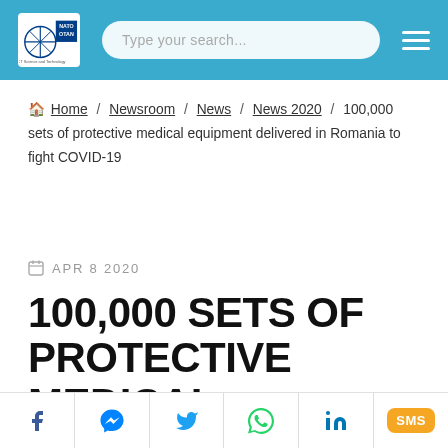NATO OTAN — Type your search...
Home / Newsroom / News / News 2020 / 100,000 sets of protective medical equipment delivered in Romania to fight COVID-19
APR 8 2020
100,000 SETS OF PROTECTIVE MEDICAL